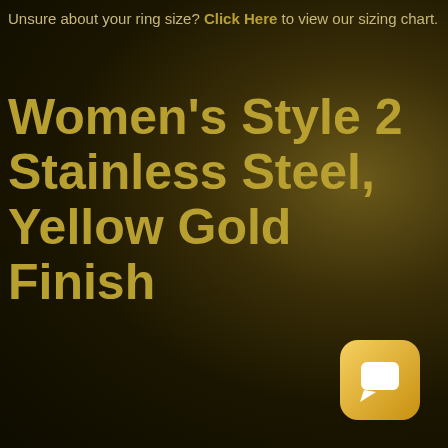Unsure about your ring size? Click Here to view our sizing chart.
Women's Style 2 Stainless Steel, Yellow Gold Finish
[Figure (illustration): Chat/messaging app icon: rounded square with golden gradient background and a white speech bubble/chat symbol in the center]